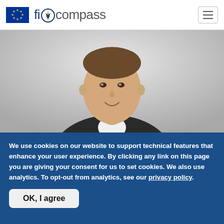fi-compass
[Figure (photo): Portrait photo of a young man in a dark suit and white shirt, smiling, against a light grey background]
We use cookies on our website to support technical features that enhance your user experience. By clicking any link on this page you are giving your consent for us to set cookies. We also use analytics. To opt-out from analytics, see our privacy policy.
OK, I agree